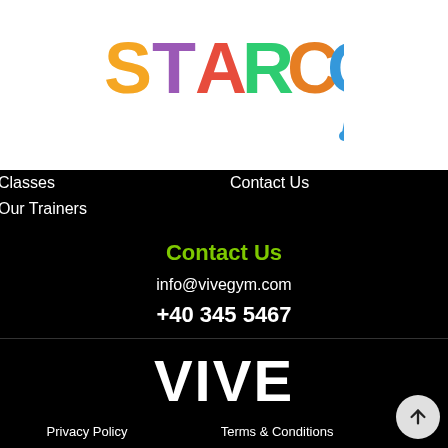[Figure (logo): STARCOACH colorful logo with painted drips below]
Classes
Contact Us
Our Trainers
Contact Us
info@vivegym.com
+40 345 5467
[Figure (logo): VIVE large bold white text logo]
Privacy Policy
Terms & Conditions